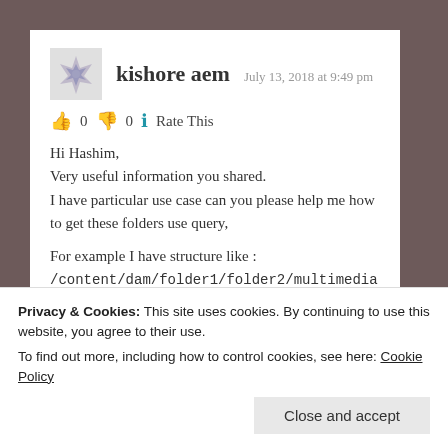kishore aem  July 13, 2018 at 9:49 pm
👍 0 👎 0 ℹ Rate This
Hi Hashim,
Very useful information you shared.
I have particular use case can you please help me how to get these folders use query,

For example I have structure like :
/content/dam/folder1/folder2/multimedia
/content/dam/folder3/folder4/multimedia

Like above I have some folder structure where folders between /dam/ and /multimedia are not fixed. I want
Privacy & Cookies: This site uses cookies. By continuing to use this website, you agree to their use.
To find out more, including how to control cookies, see here: Cookie Policy
Close and accept